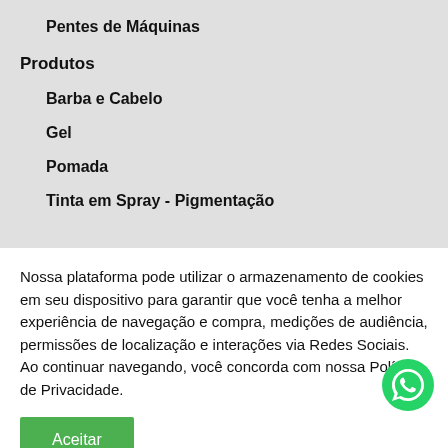Pentes de Máquinas
Produtos
Barba e Cabelo
Gel
Pomada
Tinta em Spray - Pigmentação
Nossa plataforma pode utilizar o armazenamento de cookies em seu dispositivo para garantir que você tenha a melhor experiência de navegação e compra, medições de audiência, permissões de localização e interações via Redes Sociais. Ao continuar navegando, você concorda com nossa Política de Privacidade.
Aceitar